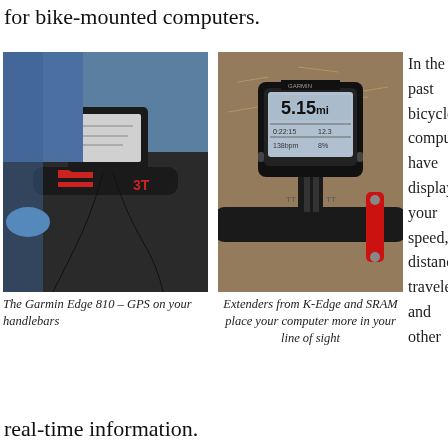for bike-mounted computers.
[Figure (photo): Close-up photo of a Garmin Edge 810 GPS computer mounted on black handlebars with a 3T stem, with a rider's hand visible in blue glove]
[Figure (photo): Top-down view of a Garmin GPS computer mounted on bicycle handlebars with red K-Edge/SRAM extender mount, on a gravel background]
In the past bicycle computers have displayed your speed, distance traveled and other
The Garmin Edge 810 – GPS on your handlebars
Extenders from K-Edge and SRAM place your computer more in your line of sight
real-time information.